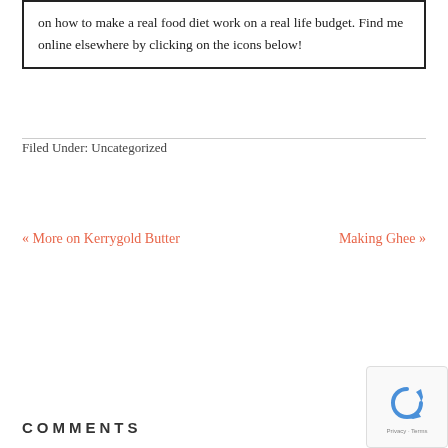on how to make a real food diet work on a real life budget. Find me online elsewhere by clicking on the icons below!
Filed Under: Uncategorized
« More on Kerrygold Butter
Making Ghee »
COMMENTS